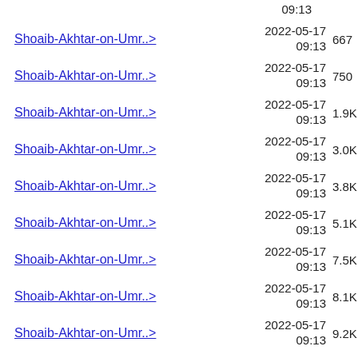09:13  667
Shoaib-Akhtar-on-Umr..>  2022-05-17 09:13  667
Shoaib-Akhtar-on-Umr..>  2022-05-17 09:13  750
Shoaib-Akhtar-on-Umr..>  2022-05-17 09:13  1.9K
Shoaib-Akhtar-on-Umr..>  2022-05-17 09:13  3.0K
Shoaib-Akhtar-on-Umr..>  2022-05-17 09:13  3.8K
Shoaib-Akhtar-on-Umr..>  2022-05-17 09:13  5.1K
Shoaib-Akhtar-on-Umr..>  2022-05-17 09:13  7.5K
Shoaib-Akhtar-on-Umr..>  2022-05-17 09:13  8.1K
Shoaib-Akhtar-on-Umr..>  2022-05-17 09:13  9.2K
Shoaib-Akhtar-on-Umr..>  2022-05-17 09:13  9.2K
Shoaib-Akhtar-on-Umr..>  2022-05-17 09:13  10K